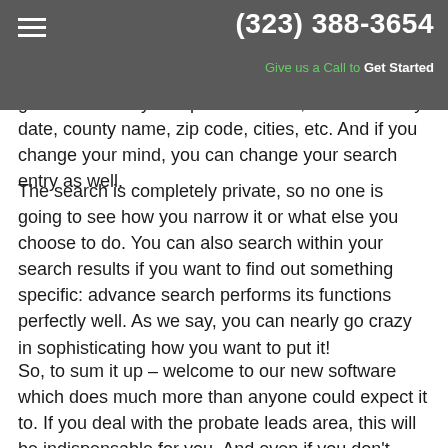(323) 388-3654 | Give us a Call to Get Started
give a name to your specific search, and search by date, county name, zip code, cities, etc. And if you change your mind, you can change your search entry as well.
The search is completely private, so no one is going to see how you narrow it or what else you choose to do. You can also search within your search results if you want to find out something specific: advance search performs its functions perfectly well. As we say, you can nearly go crazy in sophisticating how you want to put it!
So, to sum it up – welcome to our new software which does much more than anyone could expect it to. If you deal with the probate leads area, this will be indispensable for you. And even if you don't – this website is an example of our capabilities for flexibility and effective website solutions.